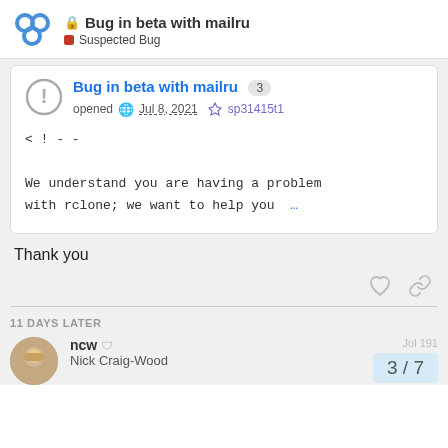Bug in beta with mailru — Suspected Bug
Bug in beta with mailru 3
opened Jul 8, 2021  sp31415t1
<!--

We understand you are having a problem with rclone; we want to help you …
Thank you
11 DAYS LATER
ncw Nick Craig-Wood
3 / 7